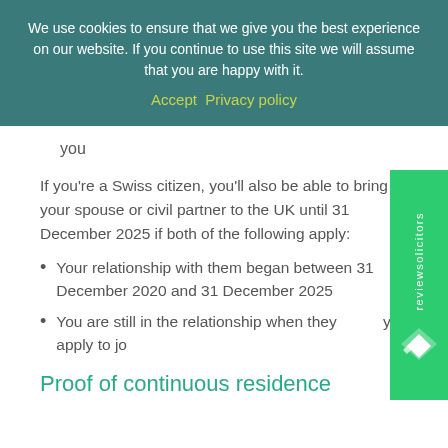We use cookies to ensure that we give you the best experience on our website. If you continue to use this site we will assume that you are happy with it.
Accept  Privacy policy
you
If you're a Swiss citizen, you'll also be able to bring your spouse or civil partner to the UK until 31 December 2025 if both of the following apply:
Your relationship with them began between 31 December 2020 and 31 December 2025
You are still in the relationship when they apply to join you
Proof of continuous residence